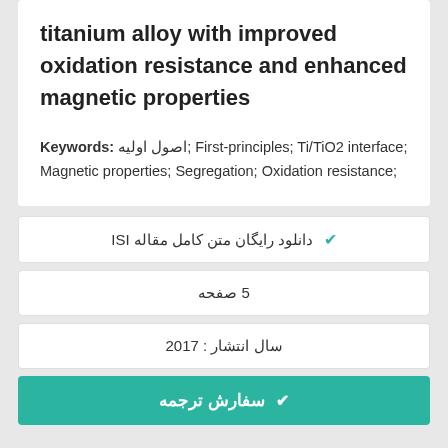titanium alloy with improved oxidation resistance and enhanced magnetic properties
Keywords: اصول اولیه; First-principles; Ti/TiO2 interface; Magnetic properties; Segregation; Oxidation resistance;
✔ دانلود رایگان متن کامل مقاله ISI
5 صفحه
سال انتشار : 2017
✔ سفارش ترجمه